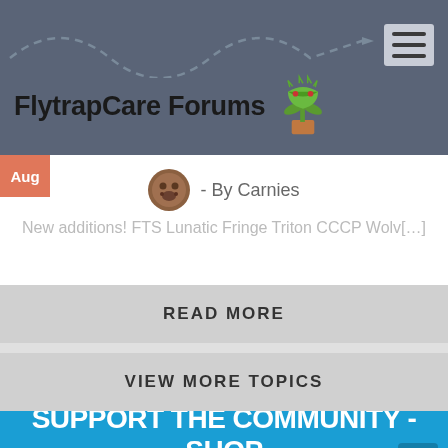FlytrapCare Forums
- By Carnies
New additions! FTS Lunatic Fringe Triton CCCP Wolv[…]
READ MORE
VIEW MORE TOPICS
SUPPORT THE COMMUNITY - SHOP AT FLYTRAPSTORE.COM!